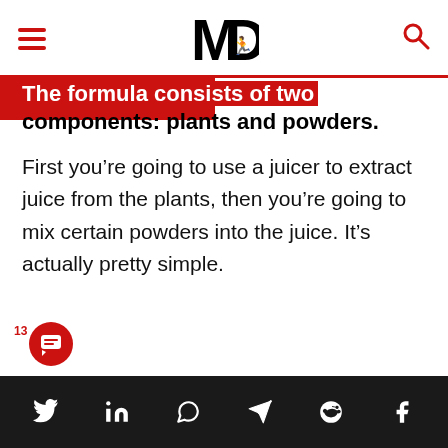MD (logo header with hamburger and search)
The formula consists of two components: plants and powders.
First you’re going to use a juicer to extract juice from the plants, then you’re going to mix certain powders into the juice. It’s actually pretty simple.
Social share icons: Twitter, LinkedIn, WhatsApp, Telegram, Reddit, Facebook